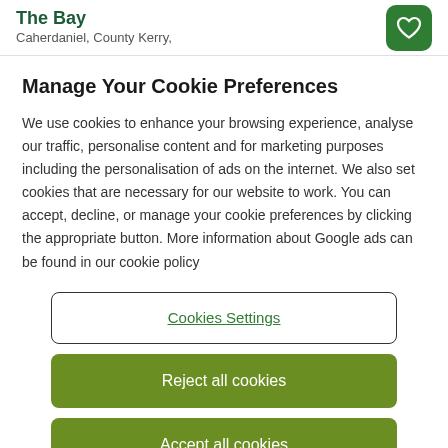The Bay
Caherdaniel, County Kerry,
Manage Your Cookie Preferences
We use cookies to enhance your browsing experience, analyse our traffic, personalise content and for marketing purposes including the personalisation of ads on the internet. We also set cookies that are necessary for our website to work. You can accept, decline, or manage your cookie preferences by clicking the appropriate button. More information about Google ads can be found in our cookie policy
Cookies Settings
Reject all cookies
Accept all cookies